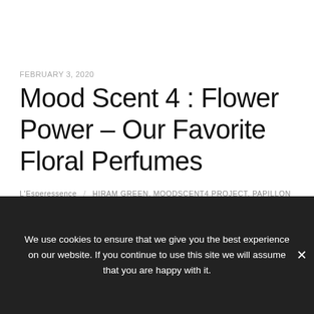FEBRUARY 3, 2020
Mood Scent 4 : Flower Power – Our Favorite Floral Perfumes
L'Esperessence / HIRAM GREEN, MOODSCENT4 PROJECT, PAPILLON
ARTISAN PERFUMES, PARFUMS DUSITA / Floral Oriental, Rose,
Privacy & Cookies: This site uses cookies. By continuing to use this website, you agree to their use.
We use cookies to ensure that we give you the best experience on our website. If you continue to use this site we will assume that you are happy with it.